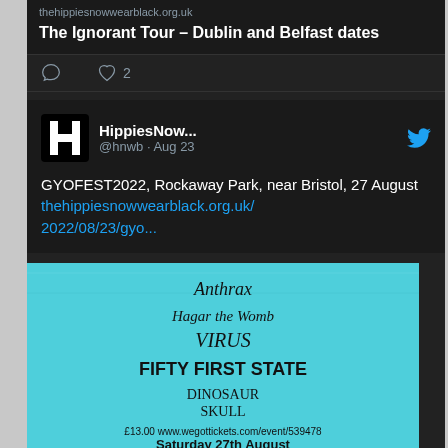thehippiesnowwearblack.org.uk
The Ignorant Tour – Dublin and Belfast dates
♡ 2
HippiesNow... @hnwb · Aug 23
GYOFEST2022, Rockaway Park, near Bristol, 27 August thehippiesnowwearblack.org.uk/2022/08/23/gyo...
[Figure (photo): Concert flyer for GYOFEST2022 showing bands: Anthrax, Hagar the Womb, Virus, Fifty First State, Dinosaur Skull. £13.00 www.wegottickets.com/event/539478 Saturday 27th August]
thehippiesnowwearblack.org.uk
GYOFEST2022, Rockaway Park